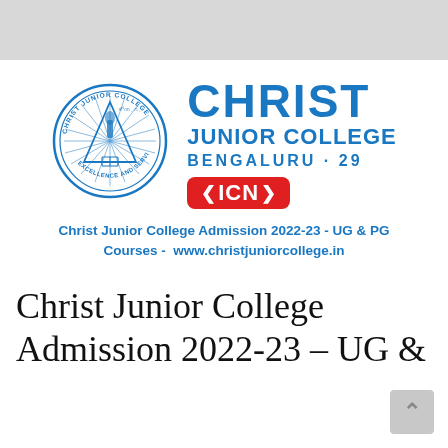[Figure (logo): Christ Junior College Bengaluru-29 logo with college seal and ICN badge]
Christ Junior College Admission 2022-23 - UG & PG Courses - www.christjuniorcollege.in
Christ Junior College Admission 2022-23 – UG &